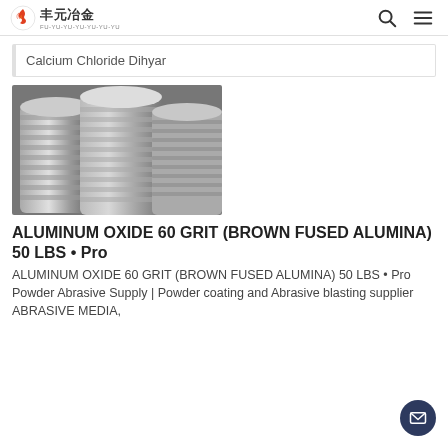丰元冶金
Calcium Chloride Dihyar
[Figure (photo): Black and white photo of multiple large industrial ridged cylindrical containers or crucibles stacked together, viewed from above at an angle.]
ALUMINUM OXIDE 60 GRIT (BROWN FUSED ALUMINA) 50 LBS • Pro
ALUMINUM OXIDE 60 GRIT (BROWN FUSED ALUMINA) 50 LBS • Pro Powder Abrasive Supply | Powder coating and Abrasive blasting supplier ABRASIVE MEDIA,